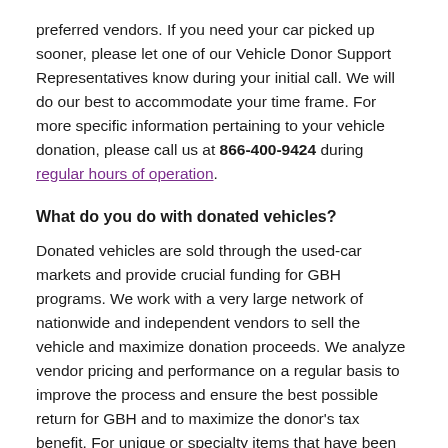preferred vendors. If you need your car picked up sooner, please let one of our Vehicle Donor Support Representatives know during your initial call. We will do our best to accommodate your time frame. For more specific information pertaining to your vehicle donation, please call us at 866-400-9424 during regular hours of operation.
What do you do with donated vehicles?
Donated vehicles are sold through the used-car markets and provide crucial funding for GBH programs. We work with a very large network of nationwide and independent vendors to sell the vehicle and maximize donation proceeds. We analyze vendor pricing and performance on a regular basis to improve the process and ensure the best possible return for GBH and to maximize the donor's tax benefit. For unique or specialty items that have been donated, we may use other means to sell the vehicle to help ensure the maximum funds are